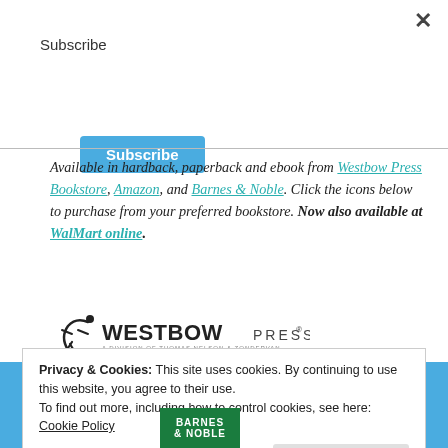×
Subscribe
[Figure (other): Blue Subscribe button]
Available in hardback, paperback and ebook from Westbow Press Bookstore, Amazon, and Barnes & Noble. Click the icons below to purchase from your preferred bookstore. Now also available at WalMart online.
[Figure (logo): WestBow Press logo — stylized figure with WESTBOW PRESS text]
Privacy & Cookies: This site uses cookies. By continuing to use this website, you agree to their use.
To find out more, including how to control cookies, see here: Cookie Policy
[Figure (logo): Barnes & Noble logo, green background]